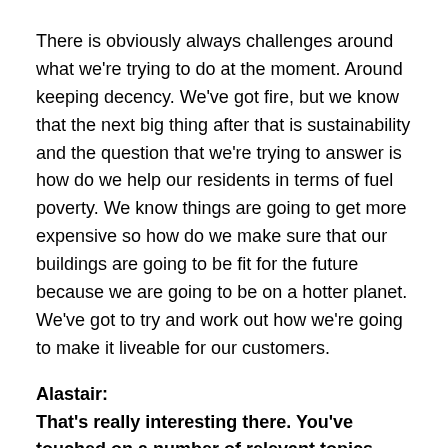There is obviously always challenges around what we're trying to do at the moment. Around keeping decency. We've got fire, but we know that the next big thing after that is sustainability and the question that we're trying to answer is how do we help our residents in terms of fuel poverty. We know things are going to get more expensive so how do we make sure that our buildings are going to be fit for the future because we are going to be on a hotter planet. We've got to try and work out how we're going to make it liveable for our customers.
Alastair:
That's really interesting there. You've touched on a number of relevant topics. One of them which is close to our heart here is the fuel poverty side of things and you know, a lot of the measures that are going in